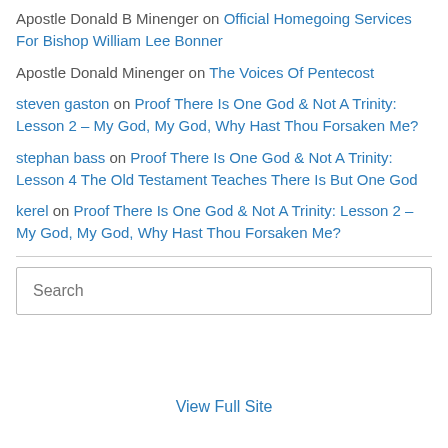Apostle Donald B Minenger on Official Homegoing Services For Bishop William Lee Bonner
Apostle Donald Minenger on The Voices Of Pentecost
steven gaston on Proof There Is One God & Not A Trinity: Lesson 2 – My God, My God, Why Hast Thou Forsaken Me?
stephan bass on Proof There Is One God & Not A Trinity: Lesson 4 The Old Testament Teaches There Is But One God
kerel on Proof There Is One God & Not A Trinity: Lesson 2 – My God, My God, Why Hast Thou Forsaken Me?
Search
View Full Site